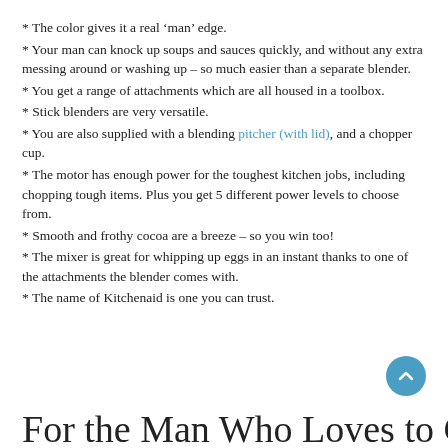* The color gives it a real ‘man’ edge.
* Your man can knock up soups and sauces quickly, and without any extra messing around or washing up – so much easier than a separate blender.
* You get a range of attachments which are all housed in a toolbox.
* Stick blenders are very versatile.
* You are also supplied with a blending pitcher (with lid), and a chopper cup.
* The motor has enough power for the toughest kitchen jobs, including chopping tough items. Plus you get 5 different power levels to choose from.
* Smooth and frothy cocoa are a breeze – so you win too!
* The mixer is great for whipping up eggs in an instant thanks to one of the attachments the blender comes with.
* The name of Kitchenaid is one you can trust.
For the Man Who Loves to Grill